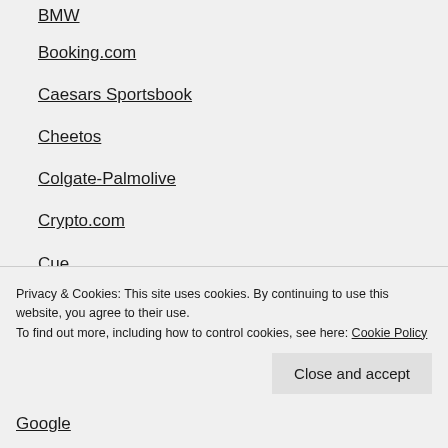BMW
Booking.com
Caesars Sportsbook
Cheetos
Colgate-Palmolive
Crypto.com
Cue
Doritos
DraftKings
eToro
Privacy & Cookies: This site uses cookies. By continuing to use this website, you agree to their use. To find out more, including how to control cookies, see here: Cookie Policy
Google